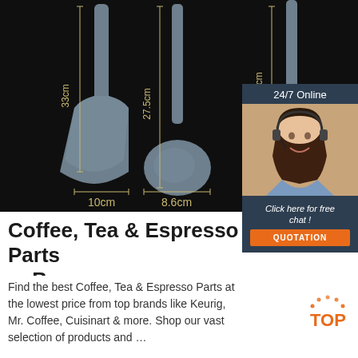[Figure (photo): Dark background product photo showing three kitchen utensils (spatula and spoons) with measurement dimensions: 33cm, 27.5cm, 32.5cm heights and 10cm, 8.6cm widths labeled with golden measurement lines]
[Figure (photo): Customer service chat widget showing a woman with headset, '24/7 Online' header, 'Click here for free chat!' text, and orange QUOTATION button]
Coffee, Tea & Espresso Parts - eBay
Find the best Coffee, Tea & Espresso Parts at the lowest price from top brands like Keurig, Mr. Coffee, Cuisinart & more. Shop our vast selection of products and …
[Figure (logo): TOP logo with orange dotted arc and orange text]